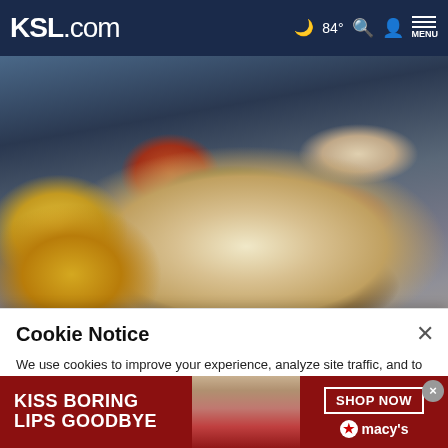KSL.com  🌙 84°  🔍  👤  MENU
[Figure (photo): Close-up photo of school cafeteria tray with tacos, toppings, a drink cup with a donut, and a hand holding a fork, on a blue tray]
California provides free meals to all public
Cookie Notice
We use cookies to improve your experience, analyze site traffic, and to personalize content and ads. By continuing to use our site, you consent to our use of cookies. Please visit our Terms of Use and  Privacy Policy for more information
[Figure (photo): Advertisement banner: KISS BORING LIPS GOODBYE with a woman's face showing red lips, and SHOP NOW button with Macy's star logo]